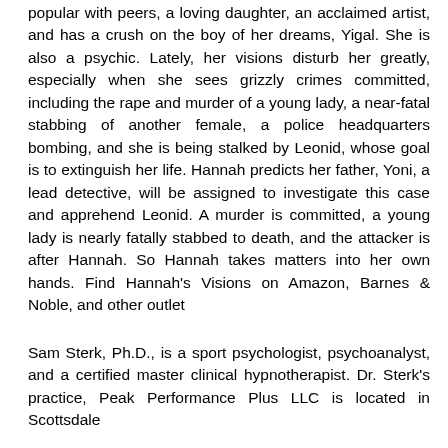popular with peers, a loving daughter, an acclaimed artist, and has a crush on the boy of her dreams, Yigal. She is also a psychic. Lately, her visions disturb her greatly, especially when she sees grizzly crimes committed, including the rape and murder of a young lady, a near-fatal stabbing of another female, a police headquarters bombing, and she is being stalked by Leonid, whose goal is to extinguish her life. Hannah predicts her father, Yoni, a lead detective, will be assigned to investigate this case and apprehend Leonid. A murder is committed, a young lady is nearly fatally stabbed to death, and the attacker is after Hannah. So Hannah takes matters into her own hands. Find Hannah's Visions on Amazon, Barnes & Noble, and other outlet
Sam Sterk, Ph.D., is a sport psychologist, psychoanalyst, and a certified master clinical hypnotherapist. Dr. Sterk's practice, Peak Performance Plus LLC is located in Scottsdale